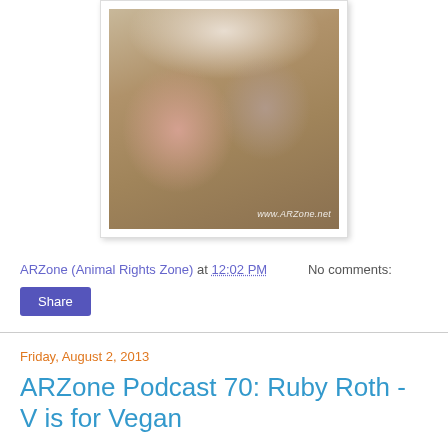[Figure (photo): A photo of two people (a woman and a man) smiling closely together, with a watermark reading www.ARZone.net in the bottom right corner. Photo is displayed in a white frame with drop shadow.]
ARZone (Animal Rights Zone) at 12:02 PM    No comments:
Share
Friday, August 2, 2013
ARZone Podcast 70: Ruby Roth - V is for Vegan
ARZone Podcast 70 features Ruby Roth.
Ruby Roth is...